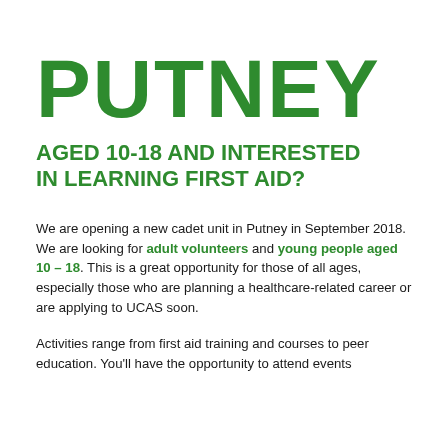PUTNEY
AGED 10-18 AND INTERESTED IN LEARNING FIRST AID?
We are opening a new cadet unit in Putney in September 2018. We are looking for adult volunteers and young people aged 10 – 18. This is a great opportunity for those of all ages, especially those who are planning a healthcare-related career or are applying to UCAS soon.
Activities range from first aid training and courses to peer education. You'll have the opportunity to attend events